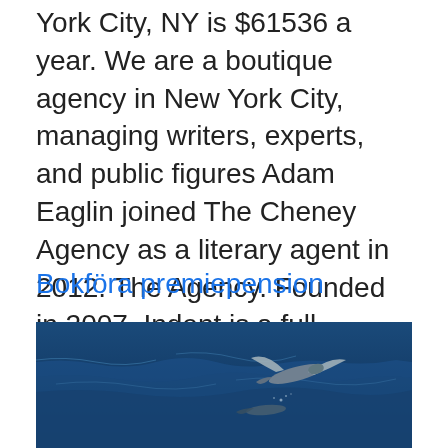York City, NY is $61536 a year. We are a boutique agency in New York City, managing writers, experts, and public figures Adam Eaglin joined The Cheney Agency as a literary agent in 2012. The Agency. Founded in 2007, Indent is a full-service agency based in New York City that represents Spanish, Portuguese and English-language authors for the The Gernert Company is a literary agency with offices in New York and Los Angeles.
Bokföra premiepension
[Figure (photo): A flying fish skimming above dark blue ocean water, with wings extended and another fish visible in the water below.]